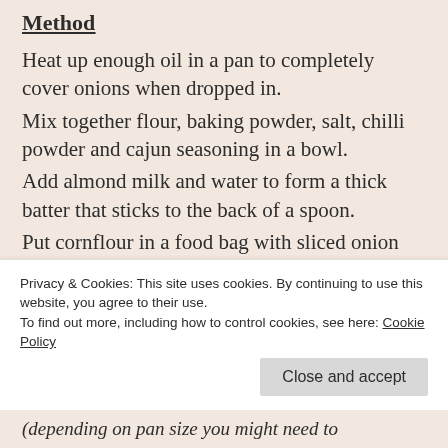Method
Heat up enough oil in a pan to completely cover onions when dropped in.
Mix together flour, baking powder, salt, chilli powder and cajun seasoning in a bowl.
Add almond milk and water to form a thick batter that sticks to the back of a spoon.
Put cornflour in a food bag with sliced onion and shake until onion gets a slight coating on.
Privacy & Cookies: This site uses cookies. By continuing to use this website, you agree to their use.
To find out more, including how to control cookies, see here: Cookie Policy
(depending on pan size you might need to